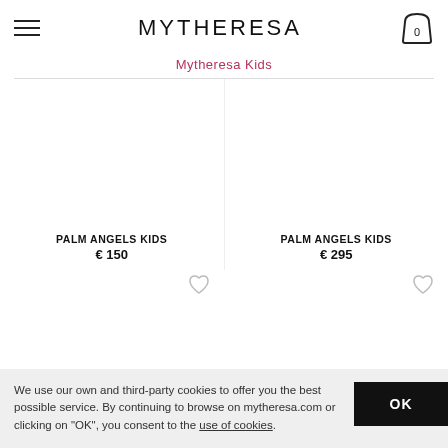MYTHERESA
Mytheresa Kids
PALM ANGELS KIDS
€ 150
PALM ANGELS KIDS
€ 295
We use our own and third-party cookies to offer you the best possible service. By continuing to browse on mytheresa.com or clicking on "OK", you consent to the use of cookies.